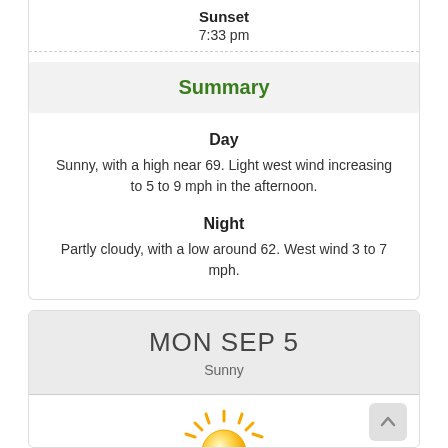Sunset
7:33 pm
Summary
Day
Sunny, with a high near 69. Light west wind increasing to 5 to 9 mph in the afternoon.
Night
Partly cloudy, with a low around 62. West wind 3 to 7 mph.
MON SEP 5
Sunny
[Figure (illustration): Sun icon - yellow sun with rays]